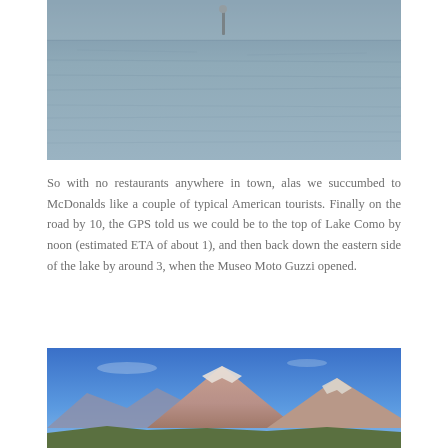[Figure (photo): Calm blue-grey water, lake or sea surface with gentle ripples and a small buoy or post visible in the upper center area.]
So with no restaurants anywhere in town, alas we succumbed to McDonalds like a couple of typical American tourists. Finally on the road by 10, the GPS told us we could be to the top of Lake Como by noon (estimated ETA of about 1), and then back down the eastern side of the lake by around 3, when the Museo Moto Guzzi opened.
[Figure (photo): Mountain range with snow-capped peaks under a vivid blue sky, with some smaller hills and possible lake shore visible in the foreground.]